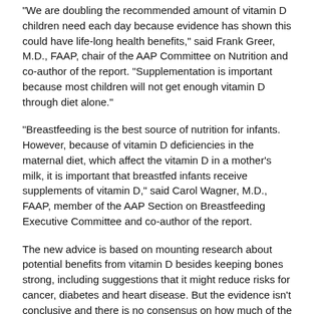"We are doubling the recommended amount of vitamin D children need each day because evidence has shown this could have life-long health benefits," said Frank Greer, M.D., FAAP, chair of the AAP Committee on Nutrition and co-author of the report. "Supplementation is important because most children will not get enough vitamin D through diet alone."
"Breastfeeding is the best source of nutrition for infants. However, because of vitamin D deficiencies in the maternal diet, which affect the vitamin D in a mother's milk, it is important that breastfed infants receive supplements of vitamin D," said Carol Wagner, M.D., FAAP, member of the AAP Section on Breastfeeding Executive Committee and co-author of the report.
The new advice is based on mounting research about potential benefits from vitamin D besides keeping bones strong, including suggestions that it might reduce risks for cancer, diabetes and heart disease. But the evidence isn't conclusive and there is no consensus on how much of the vitamin would be needed for disease prevention.
"We know 400 IU a day is safe and prevents rickets," Greer said. "We don't have any idea if that amount of vitamin D is enough for other diseases. We also don't know if anything over 400 is safe."